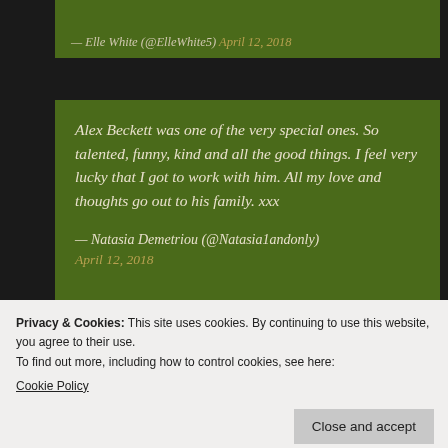— Elle White (@ElleWhite5) April 12, 2018
Alex Beckett was one of the very special ones. So talented, funny, kind and all the good things. I feel very lucky that I got to work with him. All my love and thoughts go out to his family. xxx

— Natasia Demetriou (@Natasia1andonly)
April 12, 2018
Privacy & Cookies: This site uses cookies. By continuing to use this website, you agree to their use.
To find out more, including how to control cookies, see here:
Cookie Policy
Close and accept
lost Alex Beckett. We had many silly